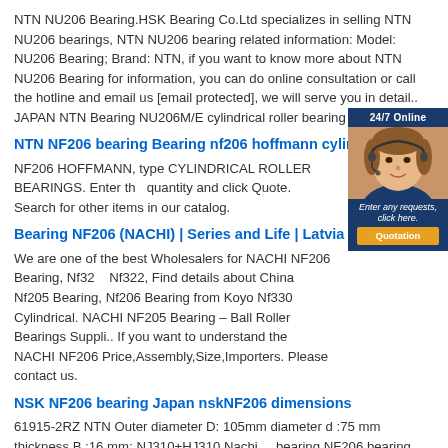NTN NU206 Bearing.HSK Bearing Co.Ltd specializes in selling NTN NU206 bearings, NTN NU206 bearing related information: Model: NU206 Bearing; Brand: NTN, if you want to know more about NTN NU206 Bearing for information, you can do online consultation or call the hotline and email us [email protected], we will serve you in detail.. JAPAN NTN Bearing NU206M/E cylindrical roller bearing NU206. ntn ...
NTN NF206 bearing Bearing nf206 hoffmann cylindrica...
NF206 HOFFMANN, type CYLINDRICAL ROLLER BEARINGS. Enter the quantity and click Quote. Search for other items in our catalog.
[Figure (photo): 24/7 Online chat support widget with a customer service representative photo and 'Enter any requests, click here. Quotation' button overlay on the right side of the page]
Bearing NF206 (NACHI) | Series and Life | Latvia
We are one of the best Wholesalers for NACHI NF206 Bearing, Nf324, Nf322, Find details about China Nf205 Bearing, Nf206 Bearing from Koyo Nf330 Cylindrical. NACHI NF205 Bearing – Ball Roller Bearings Suppli.. If you want to understand the NACHI NF206 Price,Assembly,Size,Importers. Please contact us.
NSK NF206 bearing Japan nskNF206 dimensions
61915-2RZ NTN Outer diameter D: 105mm diameter d :75 mm thickness B :16 mm; NJ310+HJ310 Nachi ... bearing NF206 bearing price specification bearing Japan NSK SKF Sweden Japan TIMKEN Germany FAG INA Japan KOYO Nachi IKO NSK NF206 bearing Japan nskNF206 dimensions Nsk . Room 2702-